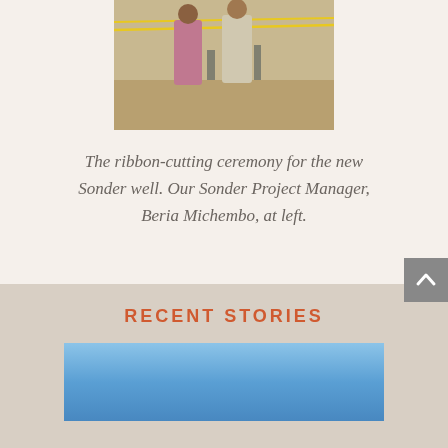[Figure (photo): Two people standing at a ribbon-cutting ceremony for a new well, outdoors on sandy ground with yellow construction tape visible in background.]
The ribbon-cutting ceremony for the new Sonder well. Our Sonder Project Manager, Beria Michembo, at left.
RECENT STORIES
[Figure (photo): Partial image of a blue sky scene, bottom of page.]